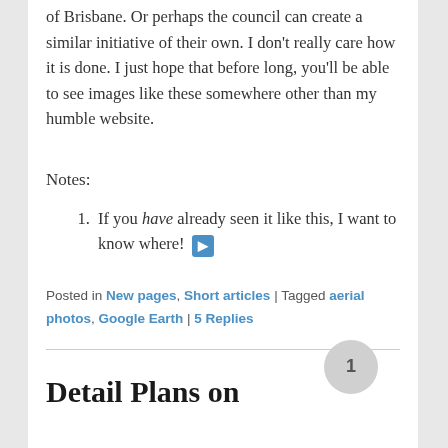of Brisbane. Or perhaps the council can create a similar initiative of their own. I don't really care how it is done. I just hope that before long, you'll be able to see images like these somewhere other than my humble website.
Notes:
If you have already seen it like this, I want to know where! [link icon]
Posted in New pages, Short articles | Tagged aerial photos, Google Earth | 5 Replies
Detail Plans on